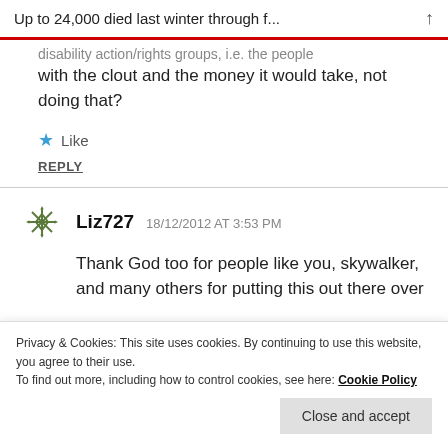Up to 24,000 died last winter through f...
disability action/rights groups, i.e. the people with the clout and the money it would take, not doing that?
★ Like
REPLY
Liz727  18/12/2012 AT 3:53 PM
Thank God too for people like you, skywalker, and many others for putting this out there over
Privacy & Cookies: This site uses cookies. By continuing to use this website, you agree to their use.
To find out more, including how to control cookies, see here: Cookie Policy
Close and accept